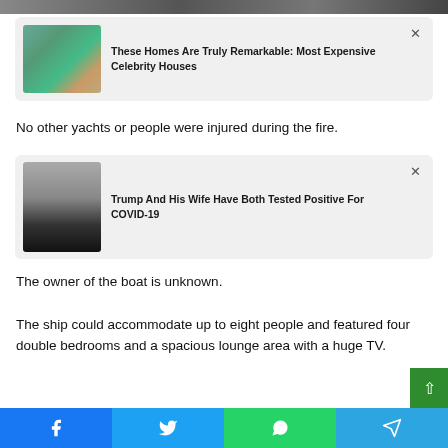[Figure (photo): Top partial image strip showing people/tanks]
[Figure (infographic): Ad card: aerial view of celebrity homes with text 'These Homes Are Truly Remarkable: Most Expensive Celebrity Houses']
No other yachts or people were injured during the fire.
[Figure (infographic): Ad card: Trump wearing mask with text 'Trump And His Wife Have Both Tested Positive For COVID-19']
The owner of the boat is unknown.
The ship could accommodate up to eight people and featured four double bedrooms and a spacious lounge area with a huge TV.
There was also a sun deck and a berth for a jet ski.
[Figure (infographic): Social share bar with Facebook, Twitter, WhatsApp, Telegram buttons]